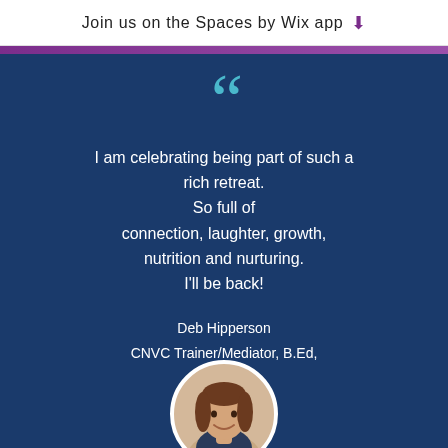Join us on the Spaces by Wix app
[Figure (photo): Purple gradient bar at top of card]
I am celebrating being part of such a rich retreat. So full of connection, laughter, growth, nutrition and nurturing. I'll be back!
Deb Hipperson
CNVC Trainer/Mediator, B.Ed, Dip.Tchg
[Figure (photo): Circular portrait photo of Deb Hipperson, a woman with brown hair, smiling]